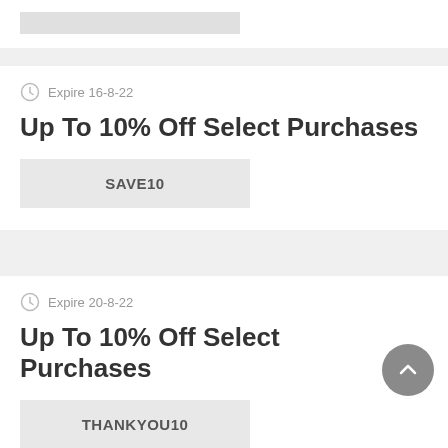[Figure (screenshot): Top card partial view with a gray placeholder bar]
Expire 16-8-22
Up To 10% Off Select Purchases
SAVE10
Expire 20-8-22
Up To 10% Off Select Purchases
THANKYOU10